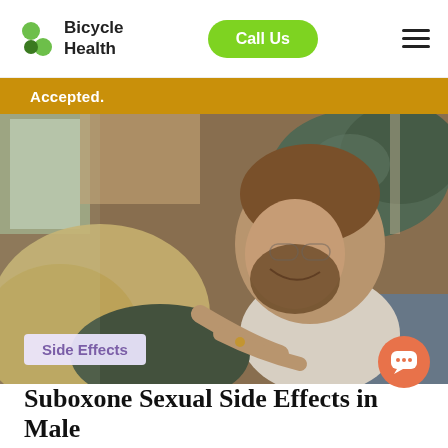Bicycle Health — Call Us
Accepted.
[Figure (photo): A bearded man laughing and leaning over a blonde woman, both reclining on green pillows/cushions in a warm indoor setting.]
Side Effects
Suboxone Sexual Side Effects in Males